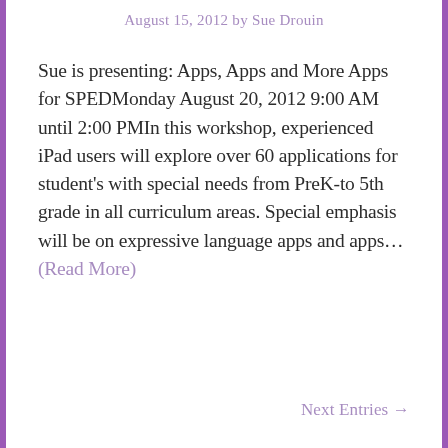August 15, 2012 by Sue Drouin
Sue is presenting: Apps, Apps and More Apps for SPEDMonday August 20, 2012 9:00 AM until 2:00 PMIn this workshop, experienced iPad users will explore over 60 applications for student's with special needs from PreK-to 5th grade in all curriculum areas. Special emphasis will be on expressive language apps and apps... (Read More)
Next Entries →